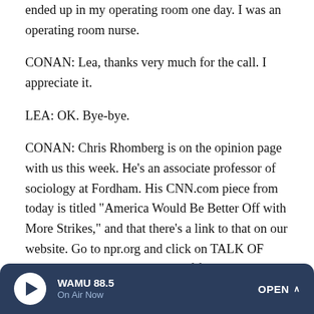ended up in my operating room one day. I was an operating room nurse.
CONAN: Lea, thanks very much for the call. I appreciate it.
LEA: OK. Bye-bye.
CONAN: Chris Rhomberg is on the opinion page with us this week. He's an associate professor of sociology at Fordham. His CNN.com piece from today is titled "America Would Be Better Off with More Strikes," and that there's a link to that on our website. Go to npr.org and click on TALK OF THE NATION. In the interest of full disclosure, NPR is a union shop, which has never gone on strike. You're listening to TALK OF THE NATION from NPR News.
WAMU 88.5 On Air Now OPEN